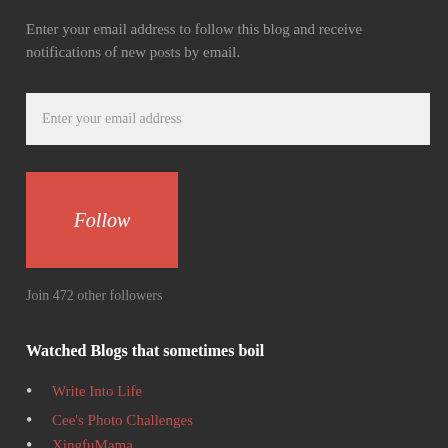Enter your email address to follow this blog and receive notifications of new posts by email.
[Figure (other): Email input field with placeholder text 'Enter your email address']
[Figure (other): Red 'Follow' button]
Join 472 other followers
Watched Blogs that sometimes boil
Write Into Life
Cee's Photo Challenges
XingfuMama